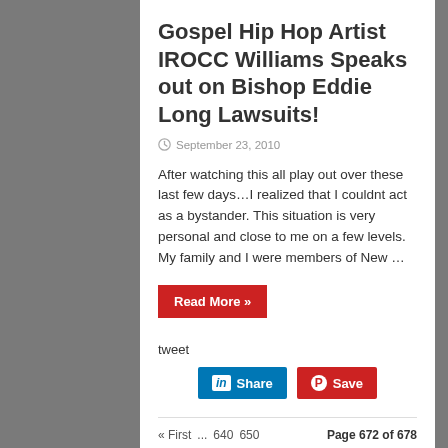Gospel Hip Hop Artist IROCC Williams Speaks out on Bishop Eddie Long Lawsuits!
September 23, 2010
After watching this all play out over these last few days…I realized that I couldnt act as a bystander. This situation is very personal and close to me on a few levels. My family and I were members of New …
Read More »
tweet
[Figure (screenshot): LinkedIn Share button and Pinterest Save button]
« First ... 640 650 Page 672 of 678 660 « 670 671 672 673 674 » ... Last »